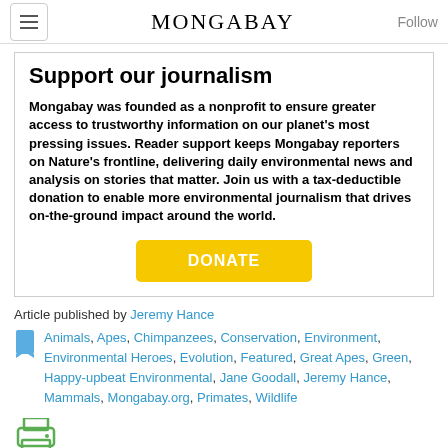MONGABAY | Follow
Support our journalism
Mongabay was founded as a nonprofit to ensure greater access to trustworthy information on our planet's most pressing issues. Reader support keeps Mongabay reporters on Nature's frontline, delivering daily environmental news and analysis on stories that matter. Join us with a tax-deductible donation to enable more environmental journalism that drives on-the-ground impact around the world.
DONATE
Article published by Jeremy Hance
Animals, Apes, Chimpanzees, Conservation, Environment, Environmental Heroes, Evolution, Featured, Great Apes, Green, Happy-upbeat Environmental, Jane Goodall, Jeremy Hance, Mammals, Mongabay.org, Primates, Wildlife